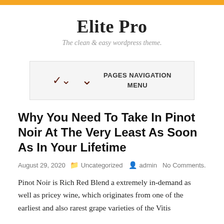Elite Pro
The clean & easy wordpress theme.
PAGES NAVIGATION MENU
Why You Need To Take In Pinot Noir At The Very Least As Soon As In Your Lifetime
August 29, 2020  Uncategorized  admin  No Comments.
Pinot Noir is Rich Red Blend a extremely in-demand as well as pricey wine, which originates from one of the earliest and also rarest grape varieties of the Vitis